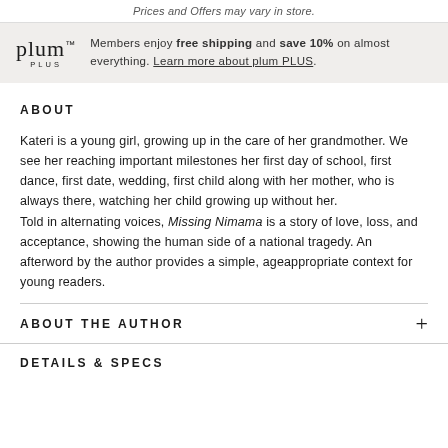Prices and Offers may vary in store.
Members enjoy free shipping and save 10% on almost everything. Learn more about plum PLUS.
ABOUT
Kateri is a young girl, growing up in the care of her grandmother. We see her reaching important milestones her first day of school, first dance, first date, wedding, first child along with her mother, who is always there, watching her child growing up without her.
Told in alternating voices, Missing Nimama is a story of love, loss, and acceptance, showing the human side of a national tragedy. An afterword by the author provides a simple, ageappropriate context for young readers.
ABOUT THE AUTHOR
DETAILS & SPECS